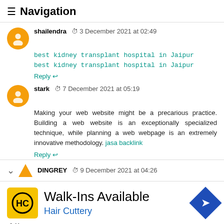≡ Navigation
shailendra  3 December 2021 at 02:49
best kidney transplant hospital in Jaipur
best kidney transplant hospital in Jaipur
Reply
stark  7 December 2021 at 05:19
Making your web website might be a precarious practice. Building a web website is an exceptionally specialized technique, while planning a web webpage is an extremely innovative methodology. jasa backlink
Reply
DINGREY  9 December 2021 at 04:26
[Figure (other): Advertisement banner: Walk-Ins Available, Hair Cuttery with HC logo and navigation arrow icon]